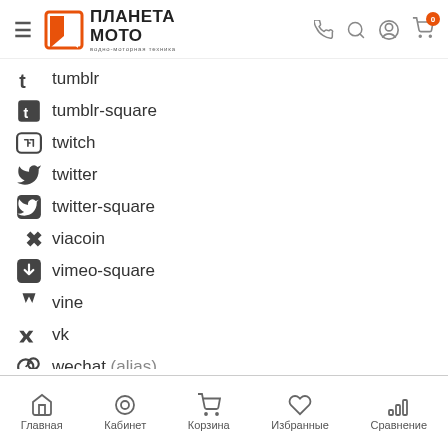ПЛАНЕТА МОТО — водно-моторная техника
tumblr
tumblr-square
twitch
twitter
twitter-square
viacoin
vimeo-square
vine
vk
wechat (alias)
weibo
weixin
whatsapp
Главная  Кабинет  Корзина  Избранные  Сравнение